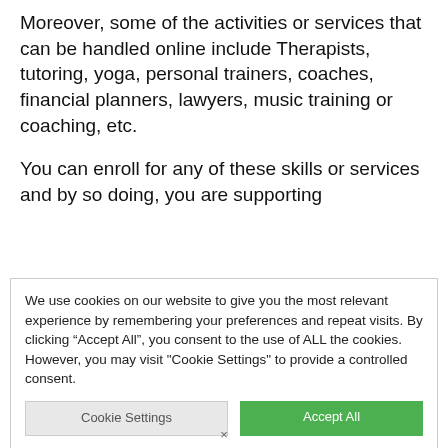Moreover, some of the activities or services that can be handled online include Therapists, tutoring, yoga, personal trainers, coaches, financial planners, lawyers, music training or coaching, etc.
You can enroll for any of these skills or services and by so doing, you are supporting
We use cookies on our website to give you the most relevant experience by remembering your preferences and repeat visits. By clicking “Accept All”, you consent to the use of ALL the cookies. However, you may visit "Cookie Settings" to provide a controlled consent.
×